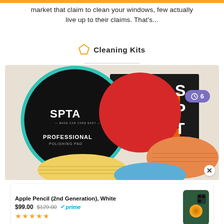market that claim to clean your windows, few actually live up to their claims. That's...
Cleaning Kits
[Figure (photo): SPTA professional polishing pads product photo showing multiple colored foam pads (black with teal rim, red, orange, yellow, blue) and SPTA branded packaging with 'AM PAD' text visible. Purple badge showing clock icon and '6' in top right corner. Close (X) button in bottom right.]
Apple Pencil (2nd Generation), White
$99.00  $129.00  ✓prime
★★★★★
[Figure (photo): iPhone 13 Pro in green color with orange MagSafe charger circle on back, shown as a product thumbnail]